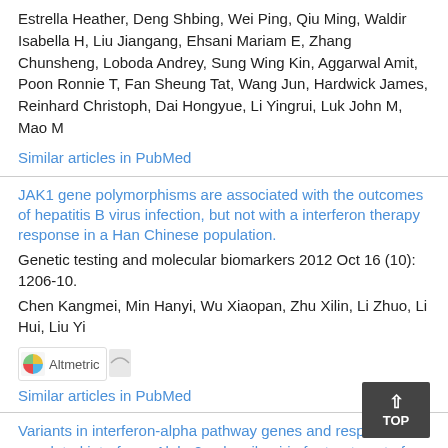Estrella Heather, Deng Shbing, Wei Ping, Qiu Ming, Waldir Isabella H, Liu Jiangang, Ehsani Mariam E, Zhang Chunsheng, Loboda Andrey, Sung Wing Kin, Aggarwal Amit, Poon Ronnie T, Fan Sheung Tat, Wang Jun, Hardwick James, Reinhard Christoph, Dai Hongyue, Li Yingrui, Luk John M, Mao M
Similar articles in PubMed
JAK1 gene polymorphisms are associated with the outcomes of hepatitis B virus infection, but not with a interferon therapy response in a Han Chinese population.
Genetic testing and molecular biomarkers 2012 Oct 16 (10): 1206-10.
Chen Kangmei, Min Hanyi, Wu Xiaopan, Zhu Xilin, Li Zhuo, Li Hui, Liu Yi
[Figure (logo): Altmetric badge with rainbow arc icon and text 'Altmetric']
Similar articles in PubMed
Variants in interferon-alpha pathway genes and response to pegylated interferon-Alpha2a plus ribavirin for treatment of chronic hepatitis C virus infection in the hepatitis C antiviral long-term treatment against cirrhosis trial.
Hepatology (Baltimore, Md.) 2009 Jun 49 (6): 1847-58.